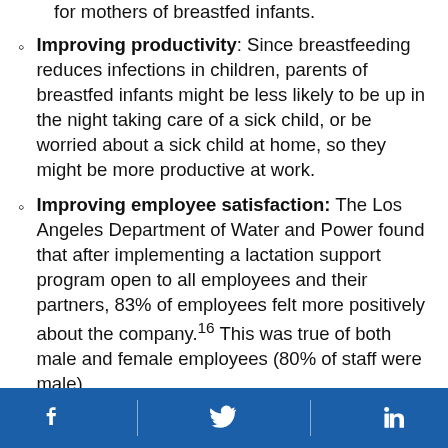for mothers of breastfed infants.
Improving productivity: Since breastfeeding reduces infections in children, parents of breastfed infants might be less likely to be up in the night taking care of a sick child, or be worried about a sick child at home, so they might be more productive at work.
Improving employee satisfaction: The Los Angeles Department of Water and Power found that after implementing a lactation support program open to all employees and their partners, 83% of employees felt more positively about the company.16 This was true of both male and female employees (80% of staff were male).
Facebook | Twitter | LinkedIn